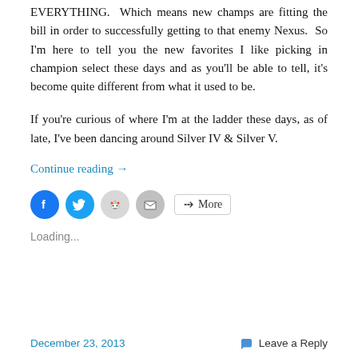EVERYTHING.  Which means new champs are fitting the bill in order to successfully getting to that enemy Nexus.  So I'm here to tell you the new favorites I like picking in champion select these days and as you'll be able to tell, it's become quite different from what it used to be.
If you're curious of where I'm at the ladder these days, as of late, I've been dancing around Silver IV & Silver V.
Continue reading →
[Figure (other): Social sharing icons row: Facebook (blue circle), Twitter (blue circle), Reddit (light grey circle), Email (grey circle), and a More button with share icon]
Loading...
December 23, 2013   Leave a Reply